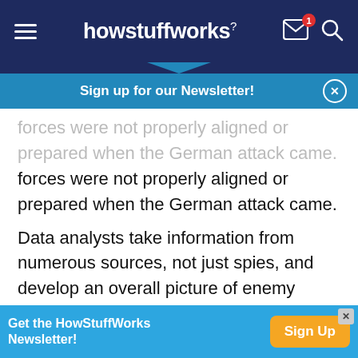howstuffworks
Sign up for our Newsletter!
forces were not properly aligned or prepared when the German attack came.
Data analysts take information from numerous sources, not just spies, and develop an overall picture of enemy strategies and policies. This information is then written into briefings for political leaders. While information from a single source may be untrustworthy, additional sources can be used to
Get the HowStuffWorks Newsletter! Sign Up